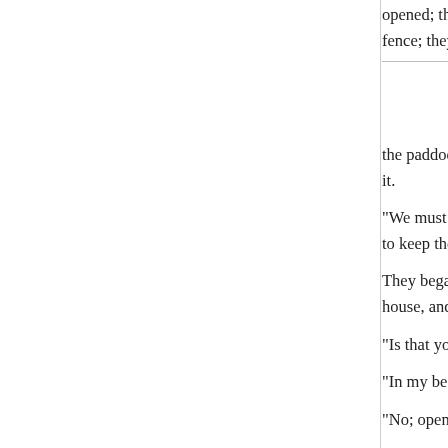opened; they could only find o... fence; they entered
the paddock; it was, however, ... it.
"We must make a noise and h... to keep them off."
They began to speak aloud, a... house, and were stumbling ab...
"Is that you, Long Bob?" replie...
"In my bed. What brings you h...
"No; open!"
All this time the two had been... Arabin gave a sharp tap again... opened, and the two travellers... keeper, for such his guide wa...
The other replied, that he was...